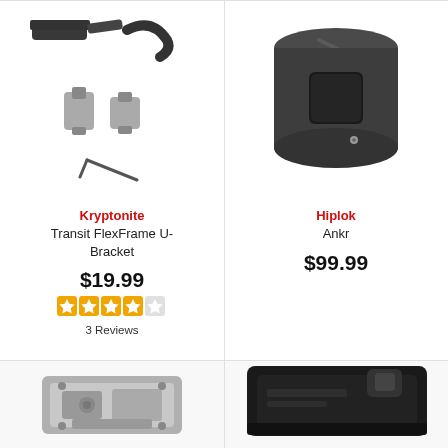[Figure (photo): Kryptonite Transit FlexFrame U-Bracket mounting hardware components including strap, connectors, and hex key on white background]
Kryptonite
Transit FlexFrame U-Bracket
$19.99
[Figure (other): Orange star rating: 4 out of 5 stars]
3 Reviews
[Figure (photo): Hiplok Ankr cylindrical black metal anchor lock with square cutout on white background]
Hiplok
Ankr
$99.99
[Figure (photo): Silver metal lock mechanism component - bottom left product image (partial)]
[Figure (photo): Black lock accessory component - bottom right product image (partial)]